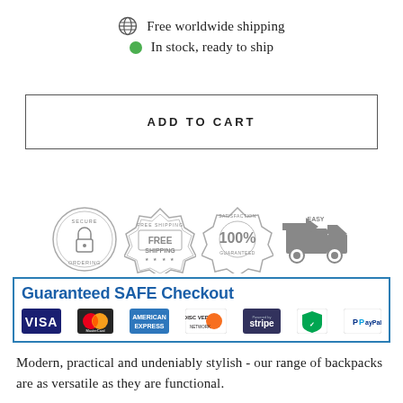Free worldwide shipping
In stock, ready to ship
ADD TO CART
[Figure (infographic): Trust badges: Secure Ordering (padlock badge), Free Shipping (stamp badge), 100% Satisfaction Guaranteed (stamp badge), Easy Returns (truck badge). Guaranteed SAFE Checkout banner with payment method logos: VISA, MasterCard, American Express, Discover Network, Stripe, Norton/SSL, PayPal.]
Modern, practical and undeniably stylish - our range of backpacks are as versatile as they are functional.